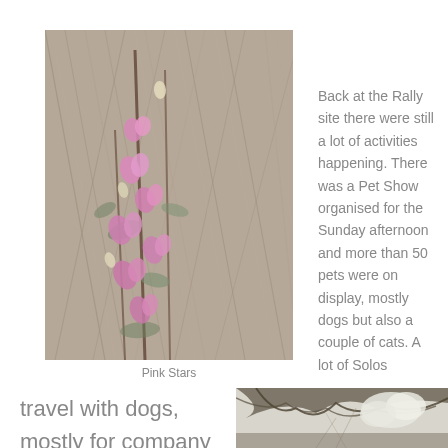[Figure (photo): Pink wildflowers (Pink Stars) against a background of dry grass and scrub]
Pink Stars
Back at the Rally site there were still a lot of activities happening. There was a Pet Show organised for the Sunday afternoon and more than 50 pets were on display, mostly dogs but also a couple of cats. A lot of Solos
travel with dogs, mostly for company
[Figure (photo): Partial view of a pet or animal outdoors with trees/foliage in background]